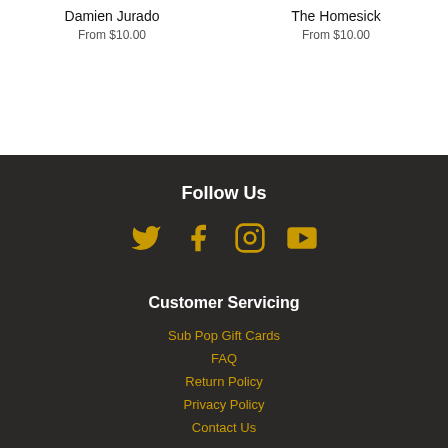Damien Jurado
From $10.00
The Homesick
From $10.00
Follow Us
[Figure (infographic): Social media icons: Twitter, Facebook, Instagram, YouTube in gold color]
Customer Servicing
Sub Pop Gift Cards
FAQ
Return Policy
Privacy Policy
Contact Us